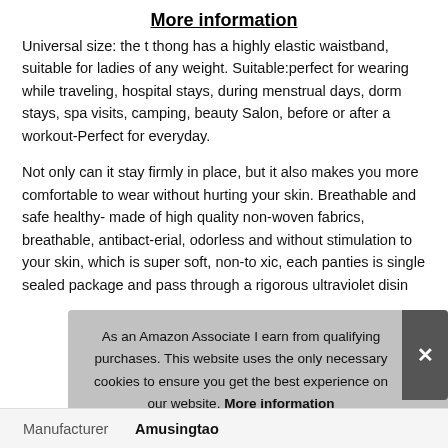More information
Universal size: the t thong has a highly elastic waistband, suitable for ladies of any weight. Suitable:perfect for wearing while traveling, hospital stays, during menstrual days, dorm stays, spa visits, camping, beauty Salon, before or after a workout-Perfect for everyday.
Not only can it stay firmly in place, but it also makes you more comfortable to wear without hurting your skin. Breathable and safe healthy- made of high quality non-woven fabrics, breathable, antibact-erial, odorless and without stimulation to your skin, which is super soft, non-to xic, each panties is single sealed package and pass through a rigorous ultraviolet disin
As an Amazon Associate I earn from qualifying purchases. This website uses the only necessary cookies to ensure you get the best experience on our website. More information
| Manufacturer |
| --- |
| Amusingtao |